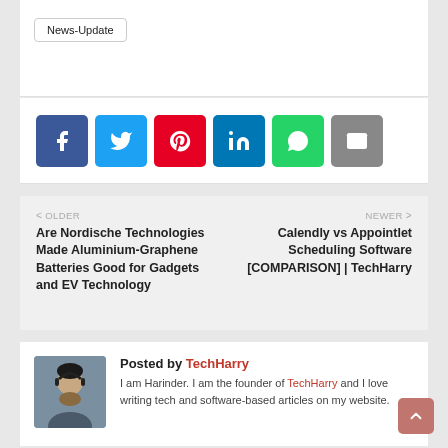News-Update
[Figure (infographic): Social share buttons row: Facebook (blue), Twitter (light blue), Pinterest (red), LinkedIn (blue), WhatsApp (green), Email (gray)]
< OLDER
Are Nordische Technologies Made Aluminium-Graphene Batteries Good for Gadgets and EV Technology
NEWER >
Calendly vs Appointlet Scheduling Software [COMPARISON] | TechHarry
Posted by TechHarry
I am Harinder. I am the founder of TechHarry and I love writing tech and software-based articles on my website.